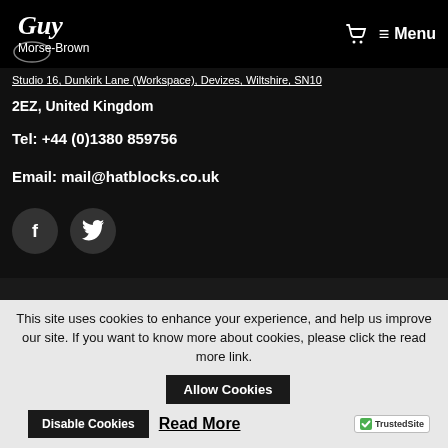Guy Morse-Brown — Menu
Studio 16, Dunkirk Lane (Workspace), Devizes, Wiltshire, SN10 2EZ, United Kingdom
Tel: +44 (0)1380 859756
Email: mail@hatblocks.co.uk
[Figure (other): Social media icons for Facebook and Twitter, circular dark buttons on black background]
This site uses cookies to enhance your experience, and help us improve our site. If you want to know more about cookies, please click the read more link.
Allow Cookies
Disable Cookies
Read More
[Figure (logo): TrustedSite badge with green checkmark]